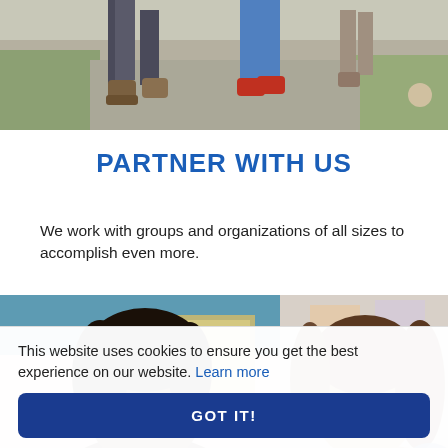[Figure (photo): Partial view of people walking on a gravel path outdoors, showing only legs and feet with boots and sneakers, grass along the edges]
PARTNER WITH US
We work with groups and organizations of all sizes to accomplish even more.
[Figure (photo): Two women talking and smiling indoors; one woman has natural black hair and the other has long brown hair, viewed from the side]
This website uses cookies to ensure you get the best experience on our website. Learn more
GOT IT!